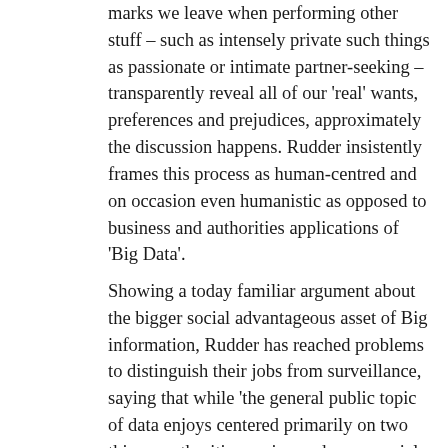marks we leave when performing other stuff – such as intensely private such things as passionate or intimate partner-seeking – transparently reveal all of our 'real' wants, preferences and prejudices, approximately the discussion happens. Rudder insistently frames this process as human-centred and on occasion even humanistic as opposed to business and authorities applications of 'Big Data'.
Showing a today familiar argument about the bigger social advantageous asset of Big information, Rudder has reached problems to distinguish their jobs from surveillance, saying that while 'the general public topic of data enjoys centered primarily on two things: authorities spying and commercial opportunity', whenever 'Big Data's two running tales were surveillance and cash, the past 3 years I've come focusing on a third: the human being tale' (Rudder, 2014: 2). Through a selection of technical instances, the info research in the guide can also be delivered as